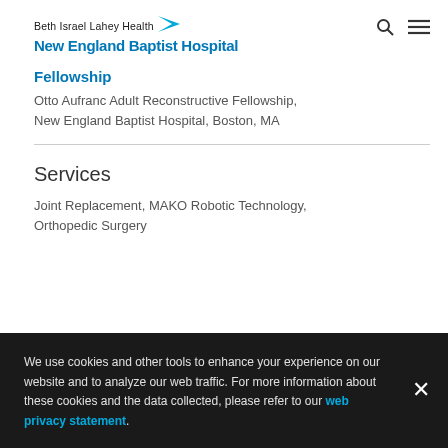Beth Israel Lahey Health New England Baptist Hospital
Fellowship
Otto Aufranc Adult Reconstructive Fellowship, New England Baptist Hospital, Boston, MA
Services
Joint Replacement, MAKO Robotic Technology, Orthopedic Surgery
We use cookies and other tools to enhance your experience on our website and to analyze our web traffic. For more information about these cookies and the data collected, please refer to our web privacy statement.